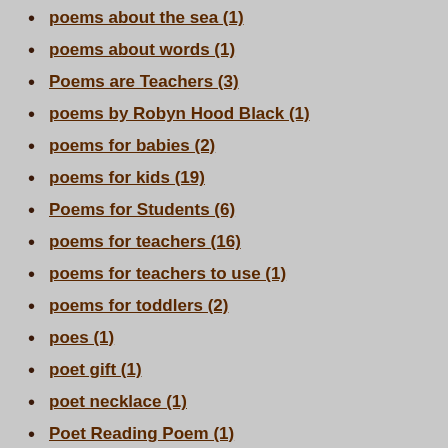poems about the sea (1)
poems about words (1)
Poems are Teachers (3)
poems by Robyn Hood Black (1)
poems for babies (2)
poems for kids (19)
Poems for Students (6)
poems for teachers (16)
poems for teachers to use (1)
poems for toddlers (2)
poes (1)
poet gift (1)
poet necklace (1)
Poet Reading Poem (1)
poetic feet (1)
poetic forms (1)